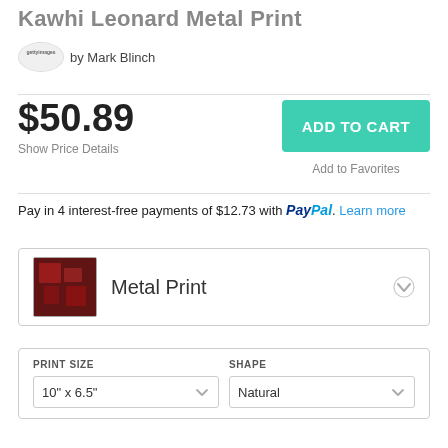Kawhi Leonard Metal Print
by Mark Blinch
$50.89
Show Price Details
ADD TO CART
Add to Favorites
Pay in 4 interest-free payments of $12.73 with PayPal. Learn more
Metal Print
PRINT SIZE
10" x 6.5"
SHAPE
Natural